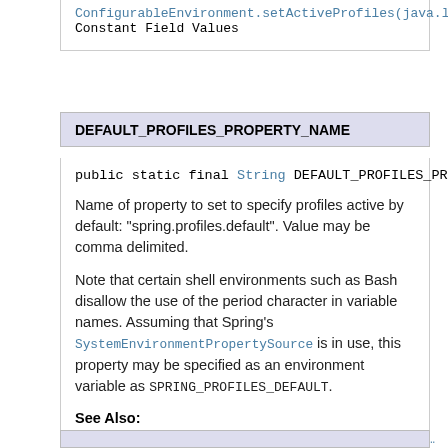ConfigurableEnvironment.setActiveProfiles(java.l...
Constant Field Values
DEFAULT_PROFILES_PROPERTY_NAME
public static final String DEFAULT_PROFILES_PROPE...
Name of property to set to specify profiles active by default: "spring.profiles.default". Value may be comma delimited.
Note that certain shell environments such as Bash disallow the use of the period character in variable names. Assuming that Spring's SystemEnvironmentPropertySource is in use, this property may be specified as an environment variable as SPRING_PROFILES_DEFAULT.
See Also:
ConfigurableEnvironment.setDefaultProfiles(java.l...
Constant Field Values